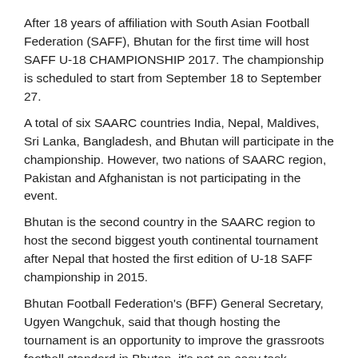After 18 years of affiliation with South Asian Football Federation (SAFF), Bhutan for the first time will host SAFF U-18 CHAMPIONSHIP 2017. The championship is scheduled to start from September 18 to September 27.
A total of six SAARC countries India, Nepal, Maldives, Sri Lanka, Bangladesh, and Bhutan will participate in the championship. However, two nations of SAARC region, Pakistan and Afghanistan is not participating in the event.
Bhutan is the second country in the SAARC region to host the second biggest youth continental tournament after Nepal that hosted the first edition of U-18 SAFF championship in 2015.
Bhutan Football Federation's (BFF) General Secretary, Ugyen Wangchuk, said that though hosting the tournament is an opportunity to improve the grassroots football standard in Bhutan, it's not an easy task.
He also added we will give our best for the visiting guest as a host from lodging to fooding, so that we have more opportunity in the future.
SAFF supported the federation with the budget of USD 150,000 to